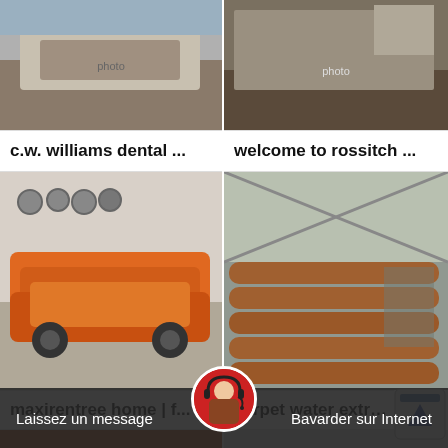[Figure (photo): Industrial machinery photo top-left]
[Figure (photo): Industrial/mining site photo top-right]
c.w. williams dental ...
welcome to rossitch ...
[Figure (photo): Orange industrial jaw crushers in factory, mid-left]
[Figure (photo): Factory interior with brown cylindrical pipes/rods, mid-right]
maxirentree home | f...
carpet water extracti...
[Figure (photo): Orange industrial hammer mill machine, bottom-left]
[Figure (photo): White building exterior, bottom-right]
Laissez un message
Bavarder sur Internet